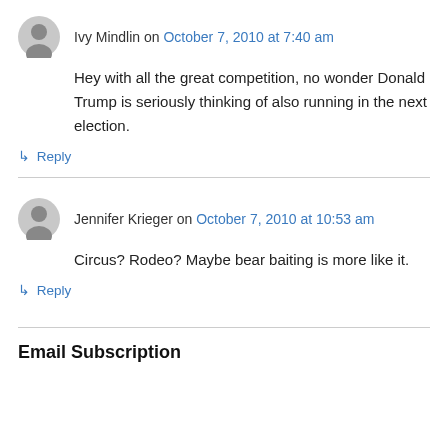Ivy Mindlin on October 7, 2010 at 7:40 am
Hey with all the great competition, no wonder Donald Trump is seriously thinking of also running in the next election.
↳ Reply
Jennifer Krieger on October 7, 2010 at 10:53 am
Circus? Rodeo? Maybe bear baiting is more like it.
↳ Reply
Email Subscription